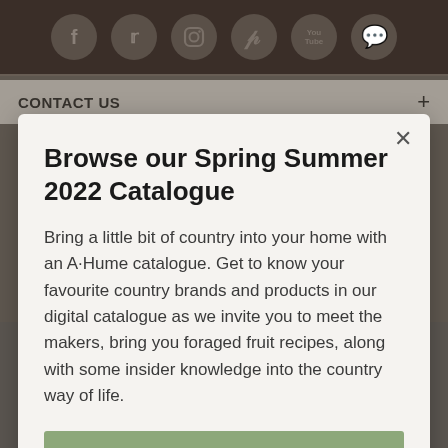[Figure (screenshot): Social media icons row: Facebook, Twitter, Instagram, Pinterest, YouTube, Chat bubble on dark brown background]
CONTACT US
Browse our Spring Summer 2022 Catalogue
Bring a little bit of country into your home with an A·Hume catalogue. Get to know your favourite country brands and products in our digital catalogue as we invite you to meet the makers, bring you foraged fruit recipes, along with some insider knowledge into the country way of life.
[Figure (screenshot): Green button at bottom of modal (partially visible)]
[Figure (logo): Mastercard logo]
[Figure (logo): Visa logo (partial)]
ACCEPT COOKIES